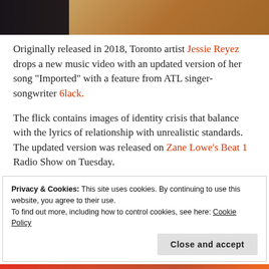[Figure (photo): Partial photo of a person wearing sneakers and tan/brown pants, cropped at top of page]
Originally released in 2018, Toronto artist Jessie Reyez drops a new music video with an updated version of her song “Imported” with a feature from ATL singer-songwriter 6lack.
The flick contains images of identity crisis that balance with the lyrics of relationship with unrealistic standards. The updated version was released on Zane Lowe’s Beat 1 Radio Show on Tuesday.
Privacy & Cookies: This site uses cookies. By continuing to use this website, you agree to their use.
To find out more, including how to control cookies, see here: Cookie Policy
Close and accept
[Figure (photo): Partial photo at bottom of page, colorful image cropped]